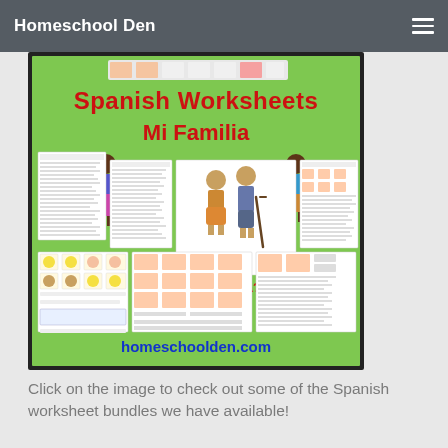Homeschool Den
[Figure (screenshot): A promotional image for Spanish Worksheets - Mi Familia from homeschoolden.com. Green background with red bold title 'Spanish Worksheets Mi Familia', showing cartoon family characters including grandparents and a child, with sample worksheet pages, text '¿Quién es mi familia? Who is my family?' and website URL 'homeschoolden.com' at the bottom in blue.]
Click on the image to check out some of the Spanish worksheet bundles we have available!